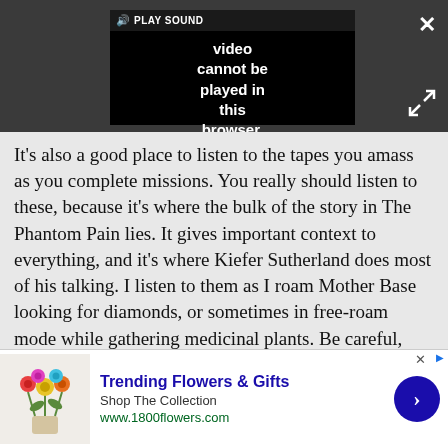[Figure (screenshot): Video player in dark gray browser UI showing error message: 'Video cannot be played in this browser. (Error Cod' with PLAY SOUND button, close X button, and expand icon.]
It’s also a good place to listen to the tapes you amass as you complete missions. You really should listen to these, because it’s where the bulk of the story in The Phantom Pain lies. It gives important context to everything, and it’s where Kiefer Sutherland does most of his talking. I listen to them as I roam Mother Base looking for diamonds, or sometimes in free-roam mode while gathering medicinal plants. Be careful, though: there are no checkpoints on Mother Base, and any diamonds you’ve gathered will be reset
[Figure (screenshot): Advertisement banner for 1800flowers.com showing flower bouquet image, title 'Trending Flowers & Gifts', subtitle 'Shop The Collection', URL 'www.1800flowers.com', and a blue circular arrow CTA button.]